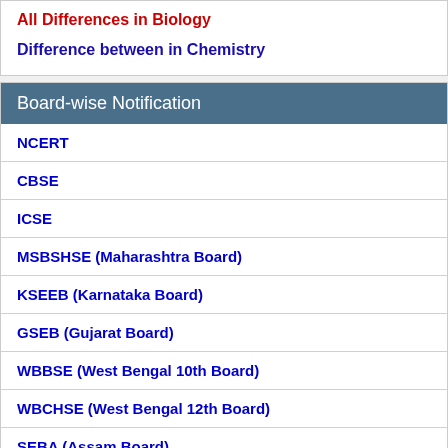All Differences in Biology
Difference between in Chemistry
Board-wise Notification
NCERT
CBSE
ICSE
MSBSHSE (Maharashtra Board)
KSEEB (Karnataka Board)
GSEB (Gujarat Board)
WBBSE (West Bengal 10th Board)
WBCHSE (West Bengal 12th Board)
SEBA (Assam Board)
AHSEC (Assam 12th Board)
PSEB (Punjab Board)